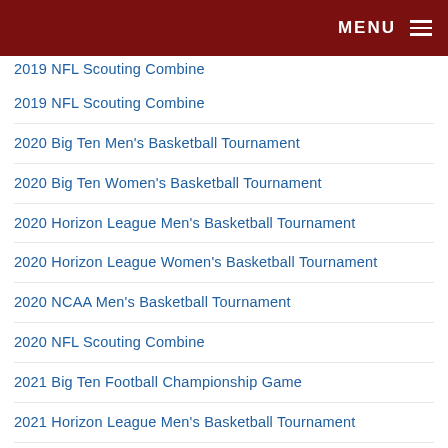MENU
2019 NFL Scouting Combine
2020 Big Ten Men's Basketball Tournament
2020 Big Ten Women's Basketball Tournament
2020 Horizon League Men's Basketball Tournament
2020 Horizon League Women's Basketball Tournament
2020 NCAA Men's Basketball Tournament
2020 NFL Scouting Combine
2021 Big Ten Football Championship Game
2021 Horizon League Men's Basketball Tournament
2021 Horizon League Women's Basketball Tournament
2021 NCAA Basketball Tournament
2021-22 College Football Playoff National Championship